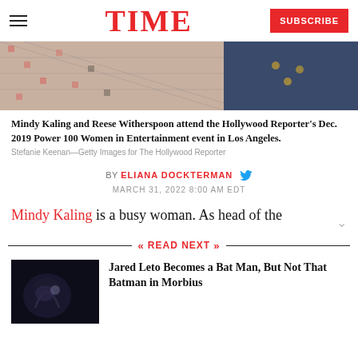TIME | SUBSCRIBE
[Figure (photo): Photo strip showing Mindy Kaling and Reese Witherspoon at the Hollywood Reporter event, cropped to show clothing detail]
Mindy Kaling and Reese Witherspoon attend the Hollywood Reporter's Dec. 2019 Power 100 Women in Entertainment event in Los Angeles.
Stefanie Keenan—Getty Images for The Hollywood Reporter
BY ELIANA DOCKTERMAN
MARCH 31, 2022 8:00 AM EDT
Mindy Kaling is a busy woman. As head of the
READ NEXT
[Figure (photo): Dark thumbnail image for Morbius article showing a bat-like figure]
Jared Leto Becomes a Bat Man, But Not That Batman in Morbius